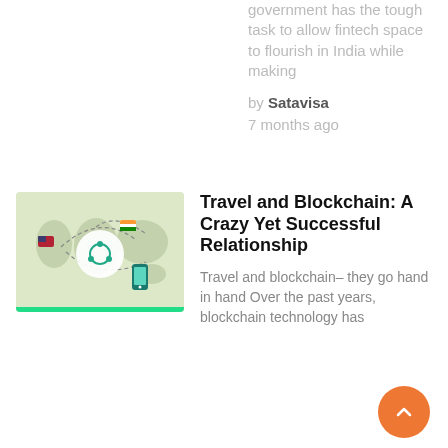government has the tough task to allow fintech space to flourish in India while making
by Satavisa
7 months ago
[Figure (illustration): World map illustration with blockchain/travel icons, dashed routes connecting various countries, a blockchain node symbol in the center on a white circle, and a mobile phone icon. A green bar appears at the bottom of the image.]
Travel and Blockchain: A Crazy Yet Successful Relationship
Travel and blockchain– they go hand in hand Over the past years, blockchain technology has